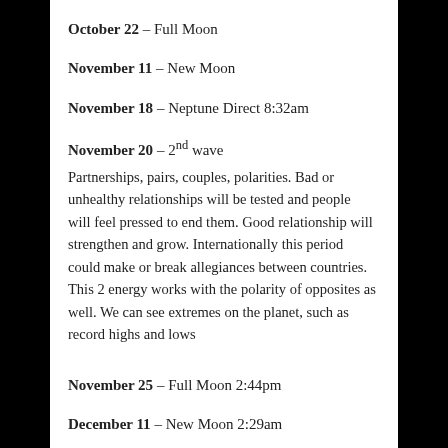October 22 – Full Moon
November 11 – New Moon
November 18 – Neptune Direct 8:32am
November 20 – 2nd wave
Partnerships, pairs, couples, polarities. Bad or unhealthy relationships will be tested and people will feel pressed to end them. Good relationship will strengthen and grow. Internationally this period could make or break allegiances between countries. This 2 energy works with the polarity of opposites as well. We can see extremes on the planet, such as record highs and lows
November 25 – Full Moon 2:44pm
December 11 – New Moon 2:29am